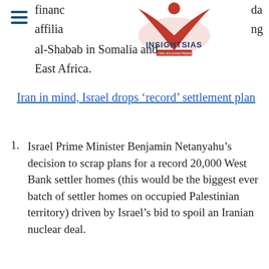InsightsIAS - Simplifying IAS Exam Preparation
financ...da affilia...ng al-Shabab in Somalia and East Africa.
Iran in mind, Israel drops 'record' settlement plan
Israel Prime Minister Benjamin Netanyahu's decision to scrap plans for a record 20,000 West Bank settler homes (this would be the biggest ever batch of settler homes on occupied Palestinian territory) driven by Israel's bid to spoil an Iranian nuclear deal.